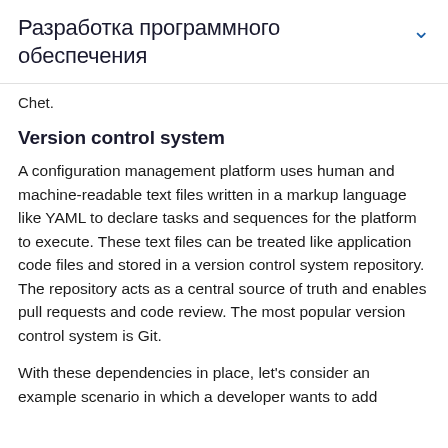Разработка программного обеспечения
Сhet.
Version control system
A configuration management platform uses human and machine-readable text files written in a markup language like YAML to declare tasks and sequences for the platform to execute. These text files can be treated like application code files and stored in a version control system repository. The repository acts as a central source of truth and enables pull requests and code review. The most popular version control system is Git.
With these dependencies in place, let's consider an example scenario in which a developer wants to add